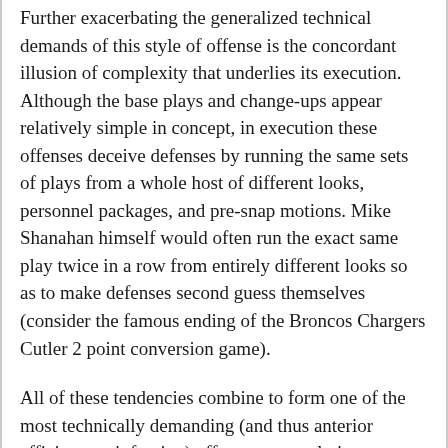Further exacerbating the generalized technical demands of this style of offense is the concordant illusion of complexity that underlies its execution. Although the base plays and change-ups appear relatively simple in concept, in execution these offenses deceive defenses by running the same sets of plays from a whole host of different looks, personnel packages, and pre-snap motions. Mike Shanahan himself would often run the exact same play twice in a row from entirely different looks so as to make defenses second guess themselves (consider the famous ending of the Broncos Chargers Cutler 2 point conversion game).
All of these tendencies combine to form one of the most technically demanding (and thus anterior efficiency reinforcing) offenses currently in use. Thankfully, Denver has one particular (posterior dominant) ace up its sleeve. A newly-acquired QB